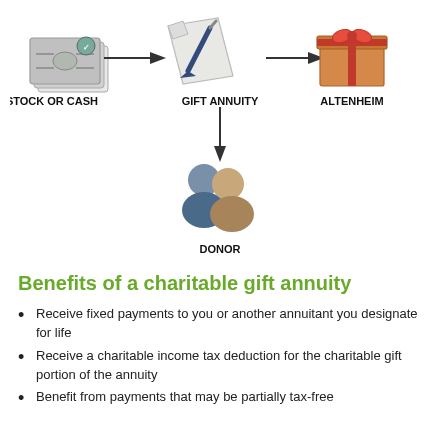[Figure (flowchart): Flowchart showing: Stock or Cash → Gift Annuity → Altenheim, and Gift Annuity → Donor. Illustrated with icons: stack of cash/stock certificates, a document being signed, a gift box with red ribbon, and two people (donor figures).]
Benefits of a charitable gift annuity
Receive fixed payments to you or another annuitant you designate for life
Receive a charitable income tax deduction for the charitable gift portion of the annuity
Benefit from payments that may be partially tax-free